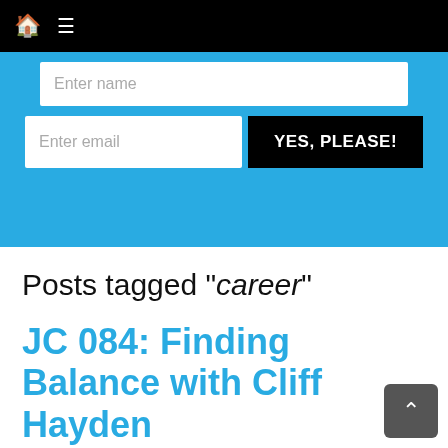🏠 ≡
[Figure (screenshot): Blue subscription banner with 'Enter name' text input field, 'Enter email' text input field, and a black 'YES, PLEASE!' button]
Posts tagged "career"
JC 084: Finding Balance with Cliff Hayden
February 12th, 2020 | no comments